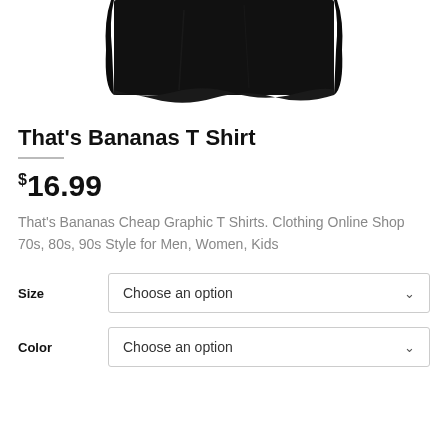[Figure (photo): Bottom portion of a black t-shirt on white background]
That’s Bananas T Shirt
$16.99
That's Bananas Cheap Graphic T Shirts. Clothing Online Shop 70s, 80s, 90s Style for Men, Women, Kids
Size  Choose an option
Color  Choose an option